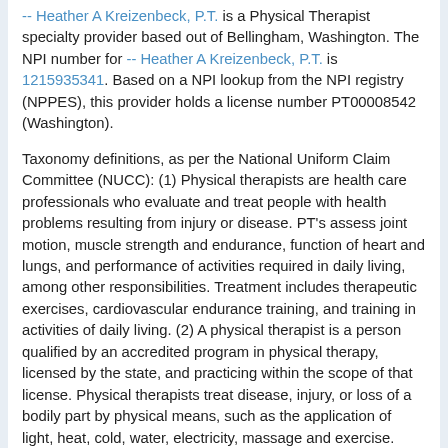-- Heather A Kreizenbeck, P.T. is a Physical Therapist specialty provider based out of Bellingham, Washington. The NPI number for -- Heather A Kreizenbeck, P.T. is 1215935341. Based on a NPI lookup from the NPI registry (NPPES), this provider holds a license number PT00008542 (Washington).
Taxonomy definitions, as per the National Uniform Claim Committee (NUCC): (1) Physical therapists are health care professionals who evaluate and treat people with health problems resulting from injury or disease. PT's assess joint motion, muscle strength and endurance, function of heart and lungs, and performance of activities required in daily living, among other responsibilities. Treatment includes therapeutic exercises, cardiovascular endurance training, and training in activities of daily living. (2) A physical therapist is a person qualified by an accredited program in physical therapy, licensed by the state, and practicing within the scope of that license. Physical therapists treat disease, injury, or loss of a bodily part by physical means, such as the application of light, heat, cold, water, electricity, massage and exercise. They develop treatment plans based upon each patient's strengths, weaknesses, range of motion and ability to function. (3) A health professional who specializes in